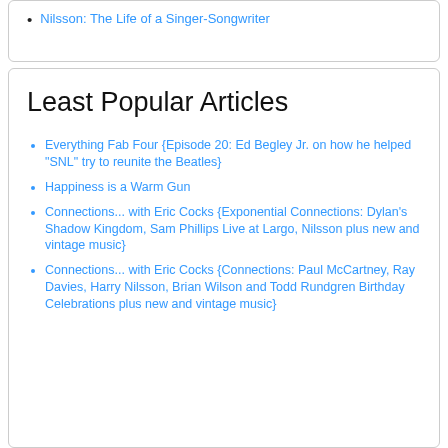Nilsson: The Life of a Singer-Songwriter
Least Popular Articles
Everything Fab Four {Episode 20: Ed Begley Jr. on how he helped "SNL" try to reunite the Beatles}
Happiness is a Warm Gun
Connections... with Eric Cocks {Exponential Connections: Dylan's Shadow Kingdom, Sam Phillips Live at Largo, Nilsson plus new and vintage music}
Connections... with Eric Cocks {Connections: Paul McCartney, Ray Davies, Harry Nilsson, Brian Wilson and Todd Rundgren Birthday Celebrations plus new and vintage music}